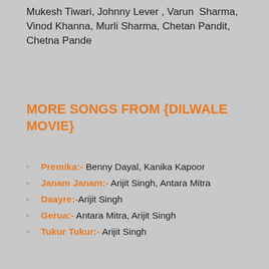Mukesh Tiwari, Johnny Lever , Varun  Sharma, Vinod Khanna, Murli Sharma, Chetan Pandit, Chetna Pande
MORE SONGS FROM {DILWALE MOVIE}
Premika:- Benny Dayal, Kanika Kapoor
Janam Janam:- Arijit Singh, Antara Mitra
Daayre:-Arijit Singh
Gerua:- Antara Mitra, Arijit Singh
Tukur Tukur:- Arijit Singh